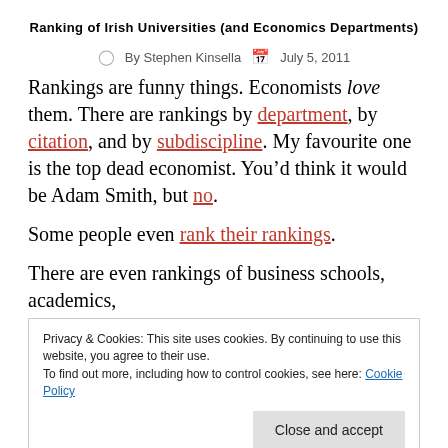Ranking of Irish Universities (and Economics Departments)
By Stephen Kinsella   July 5, 2011
Rankings are funny things. Economists love them. There are rankings by department, by citation, and by subdiscipline. My favourite one is the top dead economist. You'd think it would be Adam Smith, but no.
Some people even rank their rankings.
There are even rankings of business schools, academics,
Privacy & Cookies: This site uses cookies. By continuing to use this website, you agree to their use.
To find out more, including how to control cookies, see here: Cookie Policy
incentives such rankings produce in academic life, as